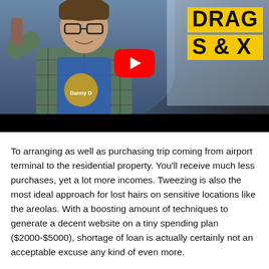[Figure (screenshot): YouTube video thumbnail showing a person in a plaid shirt holding a product in a store, with a red YouTube play button overlay, and bold yellow text reading 'DRAG S&X' on the right side. Bottom of thumbnail has a black progress bar area.]
To arranging as well as purchasing trip coming from airport terminal to the residential property. You'll receive much less purchases, yet a lot more incomes. Tweezing is also the most ideal approach for lost hairs on sensitive locations like the areolas. With a boosting amount of techniques to generate a decent website on a tiny spending plan ($2000-$5000), shortage of loan is actually certainly not an acceptable excuse any kind of even more.
The layout creates it a lot even more tough to yeanse